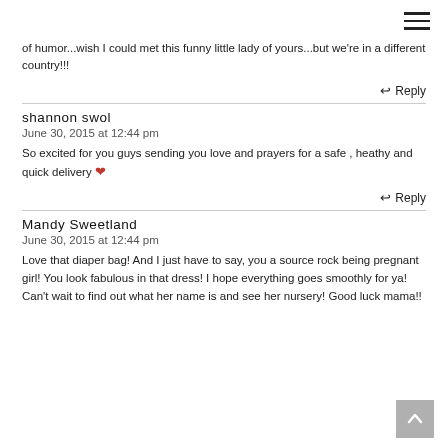[Figure (other): Hamburger menu icon (three horizontal lines) in top right corner]
of humor...wish I could met this funny little lady of yours...but we're in a different country!!!
Reply
shannon swol
June 30, 2015 at 12:44 pm
So excited for you guys sending you love and prayers for a safe , heathy and quick delivery ❤
Reply
Mandy Sweetland
June 30, 2015 at 12:44 pm
Love that diaper bag! And I just have to say, you a source rock being pregnant girl! You look fabulous in that dress! I hope everything goes smoothly for ya! Can't wait to find out what her name is and see her nursery! Good luck mama!!